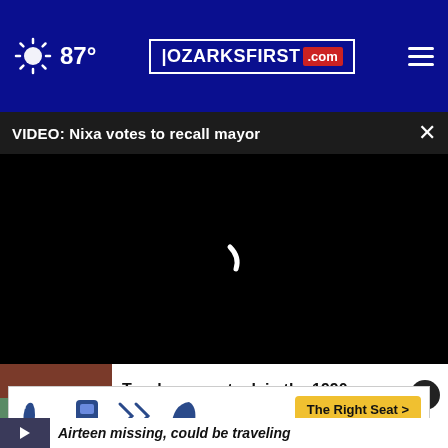87° OZARKSFIRST.com
VIDEO: Nixa votes to recall mayor
[Figure (screenshot): Black video player with loading spinner arc in center]
Teacher pay stuck in the 1990s, analysis finds
Airteen missing, could be traveling